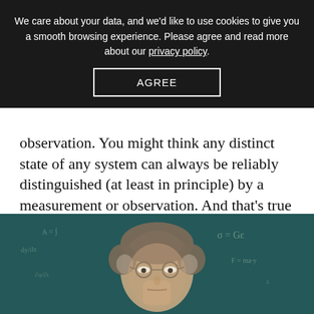We care about your data, and we'd like to use cookies to give you a smooth browsing experience. Please agree and read more about our privacy policy.
AGREE
observation. You might think any distinct state of any system can always be reliably distinguished (at least in principle) by a measurement or observation. And that's true for objects in classical physics.
[Figure (photo): A middle-aged man with glasses and grey-brown hair, wearing a white shirt, photographed in front of a green chalkboard with equations written on it.]